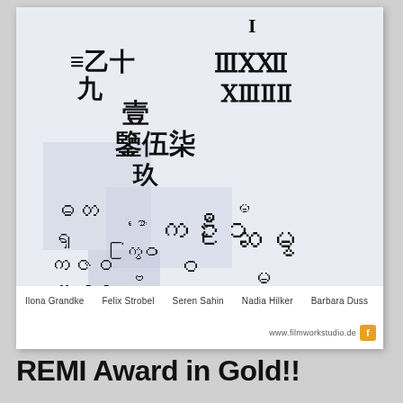[Figure (illustration): A card showing various scripts and numerals from different writing systems (Chinese, Burmese, Roman numerals, etc.) scattered across a light blue-gray background. Names listed below: Ilona Grandke, Felix Strobel, Seren Sahin, Nadia Hilker, Barbara Duss. Website: www.filmworkstudio.de]
Ilona Grandke   Felix Strobel   Seren Sahin   Nadia Hilker   Barbara Duss
www.filmworkstudio.de
REMI Award in Gold!!